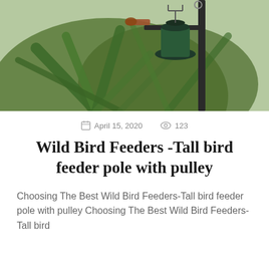[Figure (photo): Close-up photo of a tall bird feeder pole with a hanging feeder, set against a background of green agave or yucca plants. A bird is partially visible perched on the pole.]
April 15, 2020   123
Wild Bird Feeders -Tall bird feeder pole with pulley
Choosing The Best Wild Bird Feeders-Tall bird feeder pole with pulley Choosing The Best Wild Bird Feeders-Tall bird